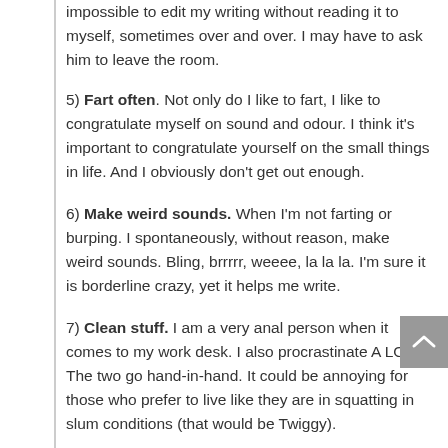impossible to edit my writing without reading it to myself, sometimes over and over. I may have to ask him to leave the room.
5) Fart often. Not only do I like to fart, I like to congratulate myself on sound and odour. I think it's important to congratulate yourself on the small things in life. And I obviously don't get out enough.
6) Make weird sounds. When I'm not farting or burping. I spontaneously, without reason, make weird sounds. Bling, brrrrr, weeee, la la la. I'm sure it is borderline crazy, yet it helps me write.
7) Clean stuff. I am a very anal person when it comes to my work desk. I also procrastinate A LOT. The two go hand-in-hand. It could be annoying for those who prefer to live like they are in squatting in slum conditions (that would be Twiggy).